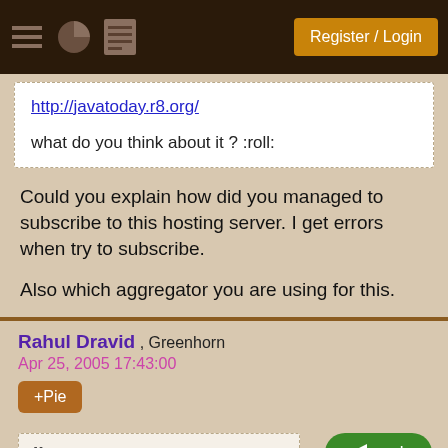Register / Login
http://javatoday.r8.org/

what do you think about it ? :roll:
Could you explain how did you managed to subscribe to this hosting server. I get errors when try to subscribe.

Also which aggregator you are using for this.
Rahul Dravid , Greenhorn
Apr 25, 2005 17:43:00
+Pie
reply
Originally posted by Rahul Dravid: